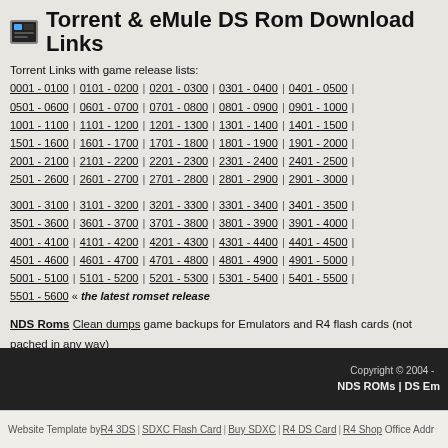Torrent & eMule DS Rom Download Links
Torrent Links with game release lists:
0001 - 0100 | 0101 - 0200 | 0201 - 0300 | 0301 - 0400 | 0401 - 0500 | 0501 - 0600 | 0601 - 0700 | 0701 - 0800 | 0801 - 0900 | 0901 - 1000 | 1001 - 1100 | 1101 - 1200 | 1201 - 1300 | 1301 - 1400 | 1401 - 1500 | 1501 - 1600 | 1601 - 1700 | 1701 - 1800 | 1801 - 1900 | 1901 - 2000 | 2001 - 2100 | 2101 - 2200 | 2201 - 2300 | 2301 - 2400 | 2401 - 2500 | 2501 - 2600 | 2601 - 2700 | 2701 - 2800 | 2801 - 2900 | 2901 - 3000
3001 - 3100 | 3101 - 3200 | 3201 - 3300 | 3301 - 3400 | 3401 - 3500 | 3501 - 3600 | 3601 - 3700 | 3701 - 3800 | 3801 - 3900 | 3901 - 4000 | 4001 - 4100 | 4101 - 4200 | 4201 - 4300 | 4301 - 4400 | 4401 - 4500 | 4501 - 4600 | 4601 - 4700 | 4701 - 4800 | 4801 - 4900 | 4901 - 5000 | 5001 - 5100 | 5101 - 5200 | 5201 - 5300 | 5301 - 5400 | 5401 - 5500 | 5501 - 5600 « the latest romset release
NDS Roms Clean dumps game backups for Emulators and R4 flash cards (not pached in any way) Full NDS ROM Romsets - packs of 100 rom files in one download. Patched - GST - Nuke games for NeoFlash DS/GBA carts : Captured NDS WiFi Demos
Copyright © 2004 - NDS ROMs | DS Em
Website Template by R4 3DS | SDXC Flash Card | Buy SDXC | R4 DS Card | R4 Shop Office Addr